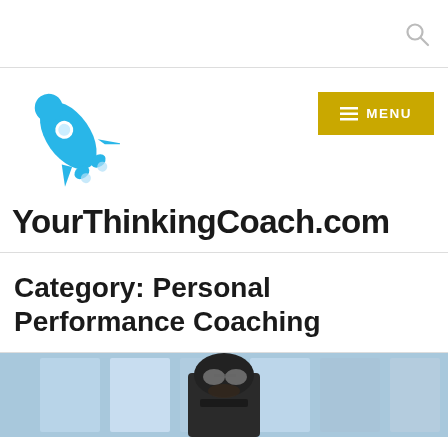[Figure (logo): Blue rocket logo for YourThinkingCoach.com]
YourThinkingCoach.com
Category: Personal Performance Coaching
[Figure (photo): Person wearing black helmet with goggles, facing camera, blurred blue background]